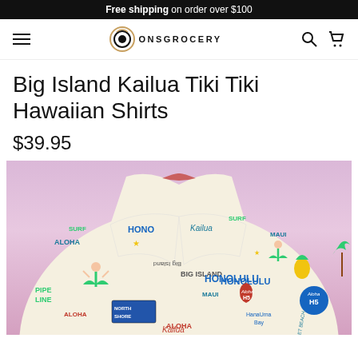Free shipping on order over $100
[Figure (logo): ONS Grocery navigation bar with hamburger menu, logo, search and cart icons]
Big Island Kailua Tiki Tiki Hawaiian Shirts
$39.95
[Figure (photo): Hawaiian shirt with cream background featuring Honolulu, Big Island, Kailua, Aloha, Maui, North Shore, Pipe Line, HanaUma Bay, Sunset Beach text and hula dancer, palm tree, pineapple illustrations]